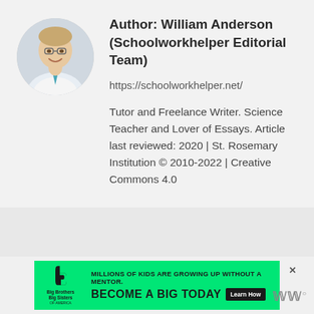[Figure (photo): Circular profile photo of a man in a suit with a tie, smiling, wearing glasses]
Author: William Anderson (Schoolworkhelper Editorial Team)
https://schoolworkhelper.net/
Tutor and Freelance Writer. Science Teacher and Lover of Essays. Article last reviewed: 2020 | St. Rosemary Institution © 2010-2022 | Creative Commons 4.0
[Figure (infographic): Big Brothers Big Sisters advertisement banner. Green background with text: MILLIONS OF KIDS ARE GROWING UP WITHOUT A MENTOR. BECOME A BIG TODAY. Learn How button.]